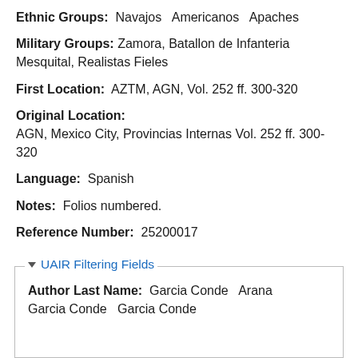Ethnic Groups: Navajos   Americanos   Apaches
Military Groups: Zamora, Batallon de Infanteria Mesquital, Realistas Fieles
First Location: AZTM, AGN, Vol. 252 ff. 300-320
Original Location:
AGN, Mexico City, Provincias Internas Vol. 252 ff. 300-320
Language: Spanish
Notes: Folios numbered.
Reference Number: 25200017
UAIR Filtering Fields
Author Last Name: Garcia Conde   Arana   Garcia Conde   Garcia Conde